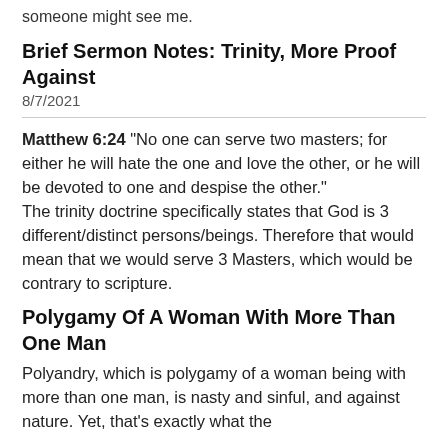someone might see me.
Brief Sermon Notes: Trinity, More Proof Against
8/7/2021
Matthew 6:24 "No one can serve two masters; for either he will hate the one and love the other, or he will be devoted to one and despise the other." The trinity doctrine specifically states that God is 3 different/distinct persons/beings. Therefore that would mean that we would serve 3 Masters, which would be contrary to scripture.
Polygamy Of A Woman With More Than One Man
Polyandry, which is polygamy of a woman being with more than one man, is nasty and sinful, and against nature. Yet, that's exactly what the